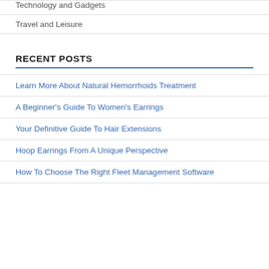Technology and Gadgets
Travel and Leisure
RECENT POSTS
Learn More About Natural Hemorrhoids Treatment
A Beginner's Guide To Women's Earrings
Your Definitive Guide To Hair Extensions
Hoop Earrings From A Unique Perspective
How To Choose The Right Fleet Management Software